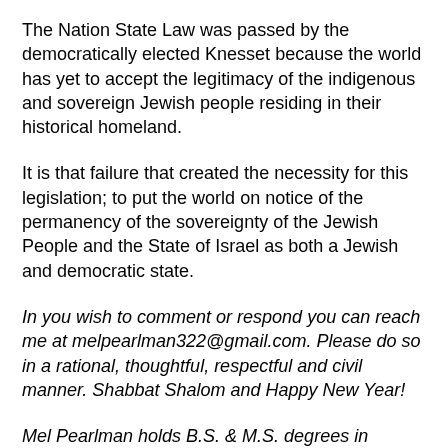The Nation State Law was passed by the democratically elected Knesset because the world has yet to accept the legitimacy of the indigenous and sovereign Jewish people residing in their historical homeland.
It is that failure that created the necessity for this legislation; to put the world on notice of the permanency of the sovereignty of the Jewish People and the State of Israel as both a Jewish and democratic state.
In you wish to comment or respond you can reach me at melpearlman322@gmail.com. Please do so in a rational, thoughtful, respectful and civil manner. Shabbat Shalom and Happy New Year!
Mel Pearlman holds B.S. & M.S. degrees in physics as well as a J.D. degree and initially came to Florida in 1966 to work on the Gemini and Apollo...